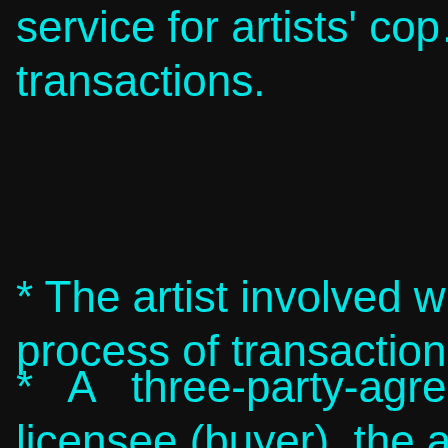service for artists' cop… transactions.
* The artist involved w… process of transaction.
* A three-party-agre… licensee (buyer), the a… be signed for the trans…